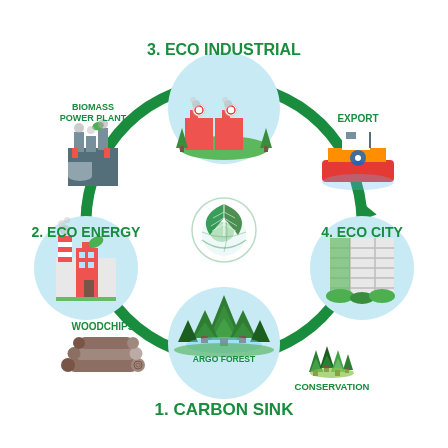[Figure (infographic): Circular eco-system infographic showing a cycle with 4 nodes: 1. Carbon Sink (forest, bottom center), 2. Eco Energy (factory, left), 3. Eco Industrial (green factory, top center), 4. Eco City (green building, right). Surrounding icons: Biomass Power Plant (top-left), Export ship (top-right), Conservation trees (bottom-right), Woodchips logs (bottom-left). Green circular arrows connect them clockwise. Center shows a globe with green leaf logo. Labels in bold green text indicate each station. ARGO FOREST label under the forest circle.]